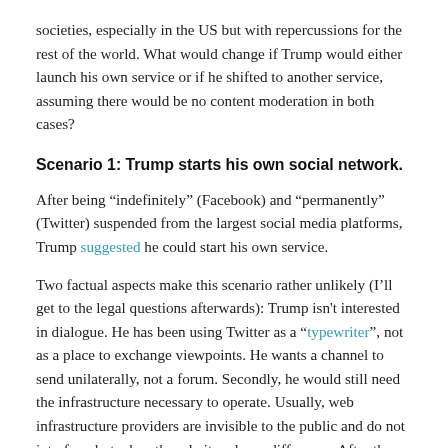societies, especially in the US but with repercussions for the rest of the world. What would change if Trump would either launch his own service or if he shifted to another service, assuming there would be no content moderation in both cases?
Scenario 1: Trump starts his own social network.
After being “indefinitely” (Facebook) and “permanently” (Twitter) suspended from the largest social media platforms, Trump suggested he could start his own service.
Two factual aspects make this scenario rather unlikely (I’ll get to the legal questions afterwards): Trump isn't interested in dialogue. He has been using Twitter as a “typewriter”, not as a place to exchange viewpoints. He wants a channel to send unilaterally, not a forum. Secondly, he would still need the infrastructure necessary to operate. Usually, web infrastructure providers are invisible to the public and do not interfere, but when they do it makes a difference. After the attack on the Capitol last Thursday,